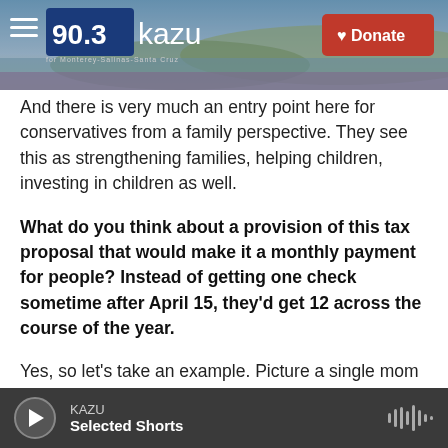[Figure (screenshot): KAZU 90.3 radio station header banner with coastal landscape background, hamburger menu icon, logo, and red Donate button]
And there is very much an entry point here for conservatives from a family perspective. They see this as strengthening families, helping children, investing in children as well.
What do you think about a provision of this tax proposal that would make it a monthly payment for people? Instead of getting one check sometime after April 15, they'd get 12 across the course of the year.
Yes, so let's take an example. Picture a single mom with a young little toddler and then a daughter
KAZU  Selected Shorts